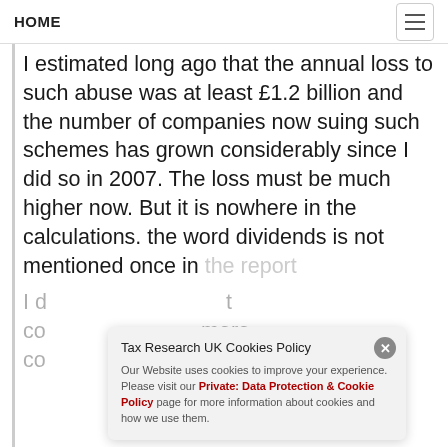HOME
I estimated long ago that the annual loss to such abuse was at least £1.2 billion and the number of companies now suing such schemes has grown considerably since I did so in 2007. The loss must be much higher now. But it is nowhere in the calculations. the word dividends is not mentioned once in the report.
I d... t co... more co...
Tax Research UK Cookies Policy
Our Website uses cookies to improve your experience. Please visit our Private: Data Protection & Cookie Policy page for more information about cookies and how we use them.